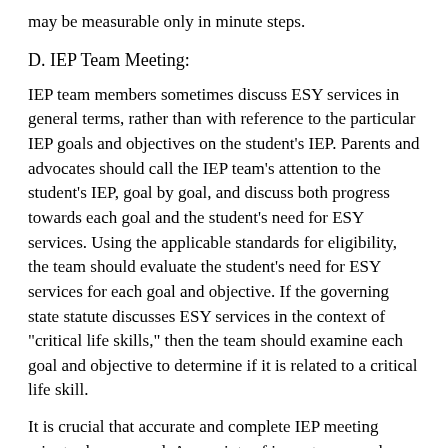may be measurable only in minute steps.
D. IEP Team Meeting:
IEP team members sometimes discuss ESY services in general terms, rather than with reference to the particular IEP goals and objectives on the student's IEP. Parents and advocates should call the IEP team's attention to the student's IEP, goal by goal, and discuss both progress towards each goal and the student's need for ESY services. Using the applicable standards for eligibility, the team should evaluate the student's need for ESY services for each goal and objective. If the governing state statute discusses ESY services in the context of "critical life skills," then the team should examine each goal and objective to determine if it is related to a critical life skill.
It is crucial that accurate and complete IEP meeting minutes be prepared. Any points of importance, such as insufficient data, the student's lack of progress, or any other issues regarding eligibility for ESY services or the substance of an ESY services program should be